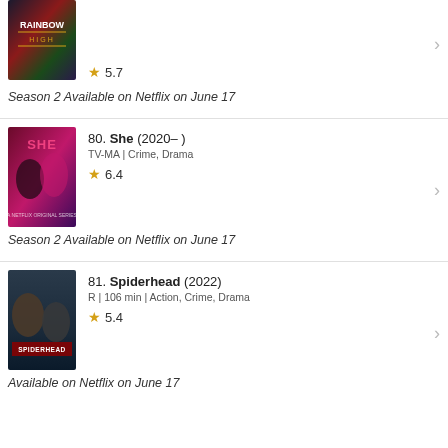[Figure (photo): Rainbow High TV show poster, top portion cropped]
5.7
Season 2 Available on Netflix on June 17
[Figure (photo): She (2020) Netflix original series poster]
80. She (2020– )
TV-MA | Crime, Drama
6.4
Season 2 Available on Netflix on June 17
[Figure (photo): Spiderhead (2022) movie poster]
81. Spiderhead (2022)
R | 106 min | Action, Crime, Drama
5.4
Available on Netflix on June 17